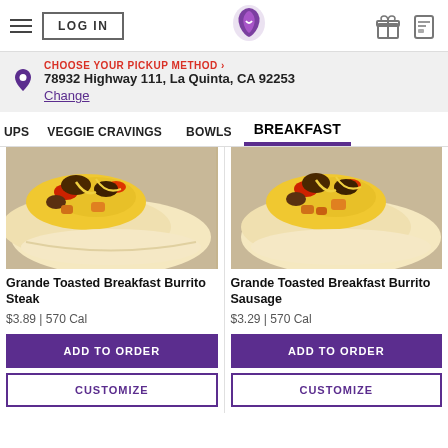LOG IN | Taco Bell Logo | gift icon | card icon
CHOOSE YOUR PICKUP METHOD › 78932 Highway 111, La Quinta, CA 92253 Change
OUPS   VEGGIE CRAVINGS   BOWLS   BREAKFAST
[Figure (photo): Grande Toasted Breakfast Burrito Steak - close-up photo of breakfast burrito with eggs, steak, potatoes, peppers and cheese]
Grande Toasted Breakfast Burrito Steak
$3.89 | 570 Cal
ADD TO ORDER
CUSTOMIZE
[Figure (photo): Grande Toasted Breakfast Burrito Sausage - close-up photo of breakfast burrito with eggs, sausage, potatoes, peppers and cheese]
Grande Toasted Breakfast Burrito Sausage
$3.29 | 570 Cal
ADD TO ORDER
CUSTOMIZE